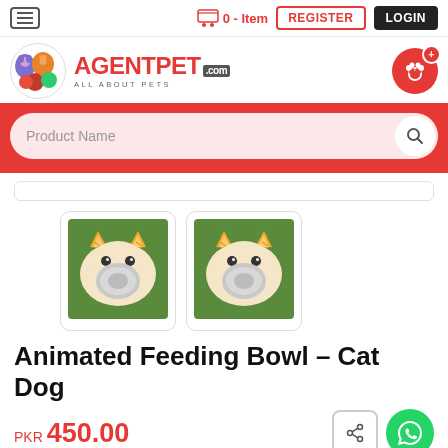0 - Item  REGISTER  LOGIN
[Figure (logo): AgentPet.com logo with colorful animal cartoon and text AGENTPET.COM ALL ABOUT PETS]
Product Name
[Figure (photo): Two thumbnail images of an Animated Feeding Bowl shaped like a cat/dog face, displayed on green grass background]
Animated Feeding Bowl – Cat Dog
PKR 450.00